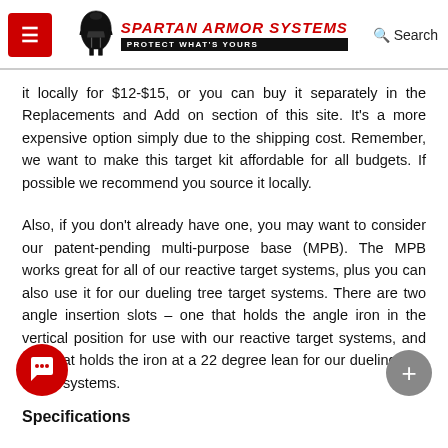Spartan Armor Systems — PROTECT WHAT'S YOURS
it locally for $12-$15, or you can buy it separately in the Replacements and Add on section of this site. It's a more expensive option simply due to the shipping cost. Remember, we want to make this target kit affordable for all budgets. If possible we recommend you source it locally.
Also, if you don't already have one, you may want to consider our patent-pending multi-purpose base (MPB). The MPB works great for all of our reactive target systems, plus you can also use it for our dueling tree target systems. There are two angle insertion slots – one that holds the angle iron in the vertical position for use with our reactive target systems, and one that holds the iron at a 22 degree lean for our dueling tree target systems.
Specifications